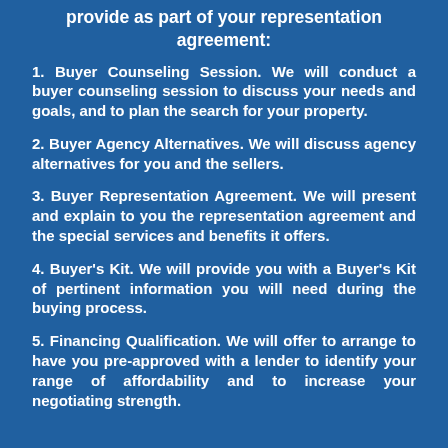provide as part of your representation agreement:
1. Buyer Counseling Session. We will conduct a buyer counseling session to discuss your needs and goals, and to plan the search for your property.
2. Buyer Agency Alternatives. We will discuss agency alternatives for you and the sellers.
3. Buyer Representation Agreement. We will present and explain to you the representation agreement and the special services and benefits it offers.
4. Buyer's Kit. We will provide you with a Buyer's Kit of pertinent information you will need during the buying process.
5. Financing Qualification. We will offer to arrange to have you pre-approved with a lender to identify your range of affordability and to increase your negotiating strength.